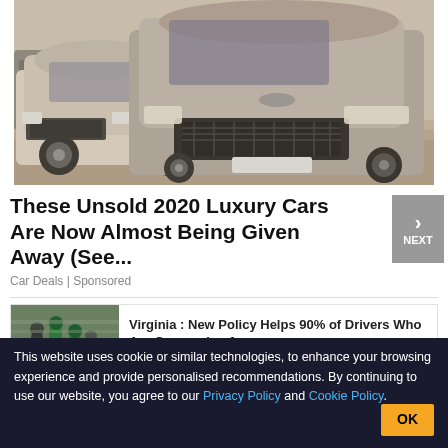[Figure (photo): Two dusty Range Rover luxury SUVs parked in a lot, photographed from the front/side, covered in dust or sand]
These Unsold 2020 Luxury Cars Are Now Almost Being Given Away (See...
Car Deals | Sponsored
[Figure (photo): Ad image showing people standing in what appears to be a store or showroom with green shirts]
Virginia : New Policy Helps 90% of Drivers Who Are Overpaying for...
AD Smart Lifestyle Trends
This website uses cookie or similar technologies, to enhance your browsing experience and provide personalised recommendations. By continuing to use our website, you agree to our Privacy Policy and Cookie Policy.